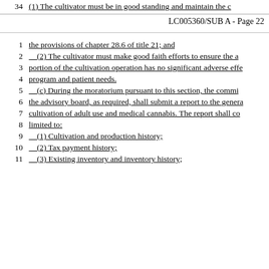(1) The cultivator must be in good standing and maintain the c
LC005360/SUB A - Page 22
the provisions of chapter 28.6 of title 21; and
(2) The cultivator must make good faith efforts to ensure the a
portion of the cultivation operation has no significant adverse effe
program and patient needs.
(c) During the moratorium pursuant to this section, the commi
the advisory board, as required, shall submit a report to the genera
cultivation of adult use and medical cannabis. The report shall co
limited to:
(1) Cultivation and production history;
(2) Tax payment history;
(3) Existing inventory and inventory history;